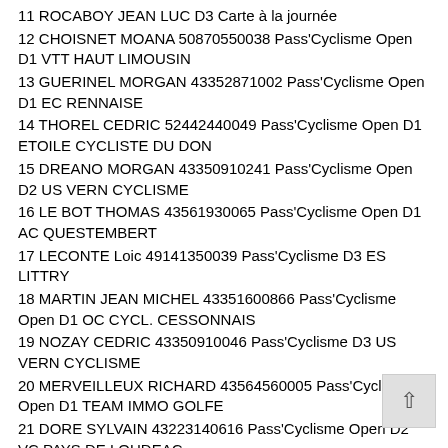11 ROCABOY JEAN LUC D3 Carte à la journée
12 CHOISNET MOANA 50870550038 Pass'Cyclisme Open D1 VTT HAUT LIMOUSIN
13 GUERINEL MORGAN 43352871002 Pass'Cyclisme Open D1 EC RENNAISE
14 THOREL CEDRIC 52442440049 Pass'Cyclisme Open D1 ETOILE CYCLISTE DU DON
15 DREANO MORGAN 43350910241 Pass'Cyclisme Open D2 US VERN CYCLISME
16 LE BOT THOMAS 43561930065 Pass'Cyclisme Open D1 AC QUESTEMBERT
17 LECONTE Loic 49141350039 Pass'Cyclisme D3 ES LITTRY
18 MARTIN JEAN MICHEL 43351600866 Pass'Cyclisme Open D1 OC CYCL. CESSONNAIS
19 NOZAY CEDRIC 43350910046 Pass'Cyclisme D3 US VERN CYCLISME
20 MERVEILLEUX RICHARD 43564560005 Pass'Cyclisme Open D1 TEAM IMMO GOLFE
21 DORE SYLVAIN 43223140616 Pass'Cyclisme Open D2 VC PAYS DE LOUDEAC
22 RIAND STEPHANE 43351140065 Pass'Cyclisme Open D1 ASPTT RENNES CYCLISME
23 GARCIA VIAJE JORGE 43354380034 Pass'Cyclisme Open